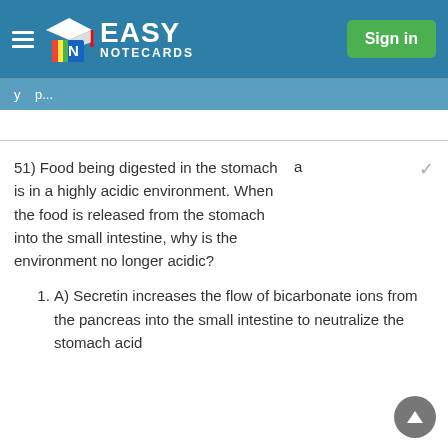Easy Notecards — Sign in
51) Food being digested in the stomach is in a highly acidic environment. When the food is released from the stomach into the small intestine, why is the environment no longer acidic?   a
A) Secretin increases the flow of bicarbonate ions from the pancreas into the small intestine to neutralize the stomach acid